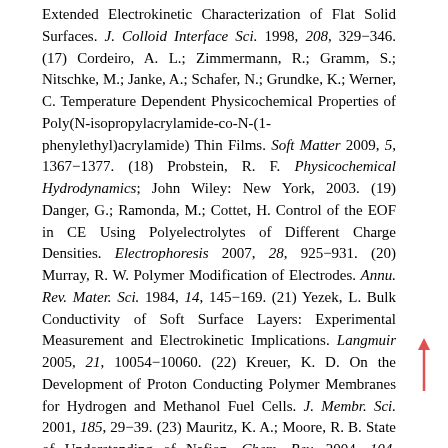Extended Electrokinetic Characterization of Flat Solid Surfaces. J. Colloid Interface Sci. 1998, 208, 329−346. (17) Cordeiro, A. L.; Zimmermann, R.; Gramm, S.; Nitschke, M.; Janke, A.; Schafer, N.; Grundke, K.; Werner, C. Temperature Dependent Physicochemical Properties of Poly(N-isopropylacrylamide-co-N-(1-phenylethyl)acrylamide) Thin Films. Soft Matter 2009, 5, 1367−1377. (18) Probstein, R. F. Physicochemical Hydrodynamics; John Wiley: New York, 2003. (19) Danger, G.; Ramonda, M.; Cottet, H. Control of the EOF in CE Using Polyelectrolytes of Different Charge Densities. Electrophoresis 2007, 28, 925−931. (20) Murray, R. W. Polymer Modification of Electrodes. Annu. Rev. Mater. Sci. 1984, 14, 145−169. (21) Yezek, L. Bulk Conductivity of Soft Surface Layers: Experimental Measurement and Electrokinetic Implications. Langmuir 2005, 21, 10054−10060. (22) Kreuer, K. D. On the Development of Proton Conducting Polymer Membranes for Hydrogen and Methanol Fuel Cells. J. Membr. Sci. 2001, 185, 29−39. (23) Mauritz, K. A.; Moore, R. B. State of Understanding of Nafion. Chem. Rev. 2004, 104, 4535−4585. (24) Bass, M.; Berman, A.; Singh, A.; Konovalov, O.; Freger, V. Surface Structure of Nafion in Vapor and Liquid. J. Phys Chem. B 2010, 114, 3784−3790. (25) Goswami, S.; Klaus, S.;